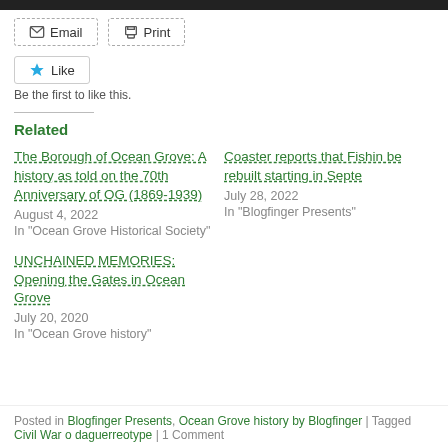[Figure (other): Dark top navigation bar]
Email   Print
Like
Be the first to like this.
Related
The Borough of Ocean Grove: A history as told on the 70th Anniversary of OG (1869-1939)
August 4, 2022
In "Ocean Grove Historical Society"
Coaster reports that Fishin be rebuilt starting in Septe
July 28, 2022
In "Blogfinger Presents"
UNCHAINED MEMORIES: Opening the Gates in Ocean Grove
July 20, 2020
In "Ocean Grove history"
Posted in Blogfinger Presents, Ocean Grove history by Blogfinger | Tagged Civil War o daguerreotype | 1 Comment